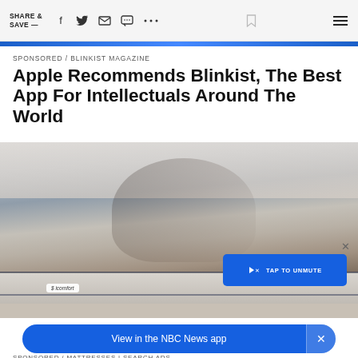SHARE & SAVE — [social icons: facebook, twitter, email, message, more, bookmark, menu]
SPONSORED / BLINKIST MAGAZINE
Apple Recommends Blinkist, The Best App For Intellectuals Around The World
[Figure (photo): Woman lying on a Serta iComfort adjustable mattress in a modern bedroom. There is a blue 'TAP TO UNMUTE' overlay button in the lower right.]
View in the NBC News app
SPONSORED / MATTRESSES | SEARCH ADS